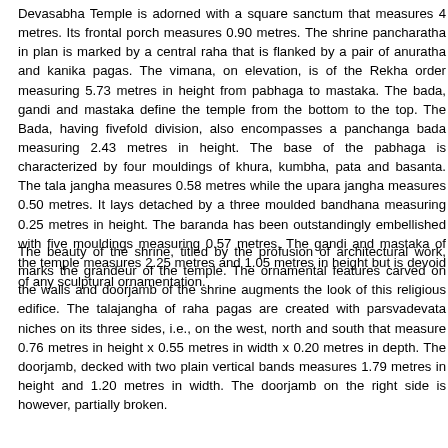Devasabha Temple is adorned with a square sanctum that measures 4 metres. Its frontal porch measures 0.90 metres. The shrine pancharatha in plan is marked by a central raha that is flanked by a pair of anuratha and kanika pagas. The vimana, on elevation, is of the Rekha order measuring 5.73 metres in height from pabhaga to mastaka. The bada, gandi and mastaka define the temple from the bottom to the top. The Bada, having fivefold division, also encompasses a panchanga bada measuring 2.43 metres in height. The base of the pabhaga is characterized by four mouldings of khura, kumbha, pata and basanta. The tala jangha measures 0.58 metres while the upara jangha measures 0.50 metres. It lays detached by a three moulded bandhana measuring 0.25 metres in height. The baranda has been outstandingly embellished with five mouldings measuring 0.57 metres. The gandi and mastaka of the temple measures 2.25 metres and 1.05 metres in height but is devoid of any sculptural ornamentation.
The beauty of the shrine, titled by the profusion of architectural work, marks the grandeur of the temple. The ornamental features carved on the walls and doorjamb of the shrine augments the look of this religious edifice. The talajangha of raha pagas are created with parsvadevata niches on its three sides, i.e., on the west, north and south that measure 0.76 metres in height x 0.55 metres in width x 0.20 metres in depth. The doorjamb, decked with two plain vertical bands measures 1.79 metres in height and 1.20 metres in width. The doorjamb on the right side is however, partially broken.